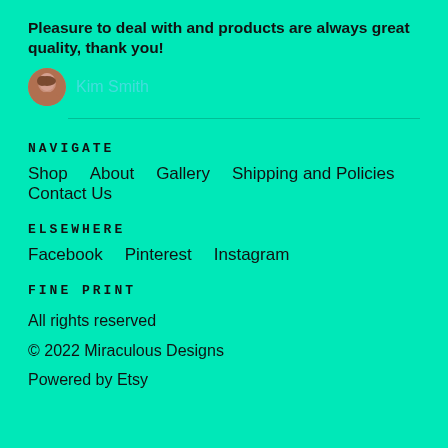Pleasure to deal with and products are always great quality, thank you!
Kim Smith
NAVIGATE
Shop
About
Gallery
Shipping and Policies
Contact Us
ELSEWHERE
Facebook
Pinterest
Instagram
FINE PRINT
All rights reserved
© 2022 Miraculous Designs
Powered by Etsy